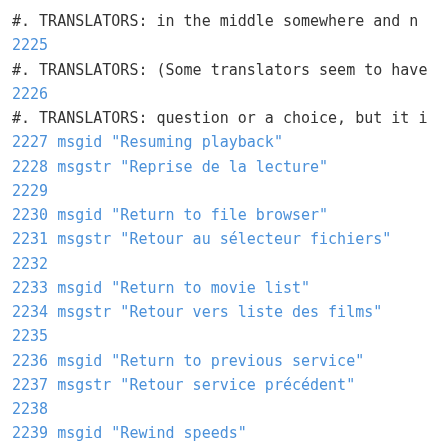#. TRANSLATORS: in the middle somewhere and n
2225
#. TRANSLATORS: (Some translators seem to have
2226
#. TRANSLATORS: question or a choice, but it i
2227 msgid "Resuming playback"
2228 msgstr "Reprise de la lecture"
2229
2230 msgid "Return to file browser"
2231 msgstr "Retour au sélecteur fichiers"
2232
2233 msgid "Return to movie list"
2234 msgstr "Retour vers liste des films"
2235
2236 msgid "Return to previous service"
2237 msgstr "Retour service précédent"
2238
2239 msgid "Rewind speeds"
2240 msgstr "Vitesses rembobinage"
2241